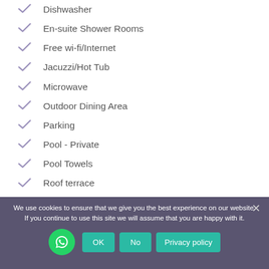Dishwasher
En-suite Shower Rooms
Free wi-fi/Internet
Jacuzzi/Hot Tub
Microwave
Outdoor Dining Area
Parking
Pool - Private
Pool Towels
Roof terrace
Sea Views
We use cookies to ensure that we give you the best experience on our website. If you continue to use this site we will assume that you are happy with it.
OK  No  Privacy policy